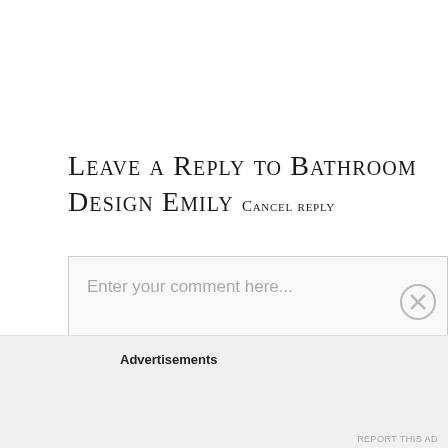Leave a Reply to Bathroom Design Emily Cancel reply
Enter your comment here...
Advertisements
REPORT THIS AD